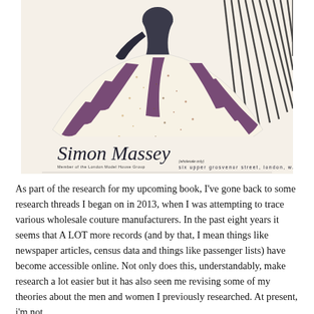[Figure (illustration): A vintage fashion illustration showing a woman in a wide, full floral skirt with purple/mauve diagonal stripe accents. Below the figure is a cursive script logo reading 'Simon Massey' with text 'six upper grosvenor street, london, w.1' and smaller text 'Member of the London Model House Group'.]
As part of the research for my upcoming book, I've gone back to some research threads I began on in 2013, when I was attempting to trace various wholesale couture manufacturers. In the past eight years it seems that A LOT more records (and by that, I mean things like newspaper articles, census data and things like passenger lists) have become accessible online. Not only does this, understandably, make research a lot easier but it has also seen me revising some of my theories about the men and women I previously researched. At present, i'm not